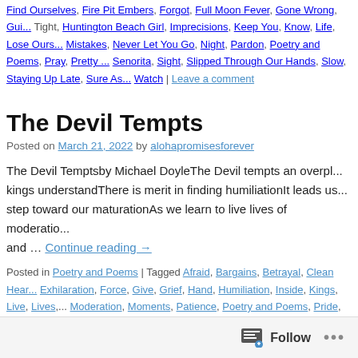Find Ourselves, Fire Pit Embers, Forgot, Full Moon Fever, Gone Wrong, Gui... Tight, Huntington Beach Girl, Imprecisions, Keep You, Know, Life, Lose Ours... Mistakes, Never Let You Go, Night, Pardon, Poetry and Poems, Pray, Pretty ... Senorita, Sight, Slipped Through Our Hands, Slow, Staying Up Late, Sure As... Watch | Leave a comment
The Devil Tempts
Posted on March 21, 2022 by alohapromisesforever
The Devil Temptsby Michael DoyleThe Devil tempts an overpl... kings understandThere is merit in finding humiliationIt leads us... step toward our maturationAs we learn to live lives of moderatio... and … Continue reading →
Posted in Poetry and Poems | Tagged Afraid, Bargains, Betrayal, Clean Hear... Exhilaration, Force, Give, Grief, Hand, Humiliation, Inside, Kings, Live, Lives,... Moderation, Moments, Patience, Poetry and Poems, Pride, Puppets, Reason... Toleration, Understand, Waters | Leave a comment
Follow